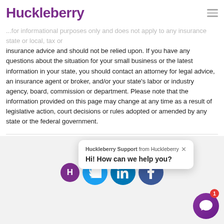Huckleberry
insurance advice and should not be relied upon. If you have any questions about the situation for your small business or the latest information in your state, you should contact an attorney for legal advice, an insurance agent or broker, and/or your state's labor or industry agency, board, commission or department. Please note that the information provided on this page may change at any time as a result of legislative action, court decisions or rules adopted or amended by any state or the federal government.
[Figure (screenshot): Social share section with Twitter, LinkedIn, Facebook icons and a Huckleberry Support chat popup saying 'Hi! How can we help you?' with a chat launcher button in the bottom right corner.]